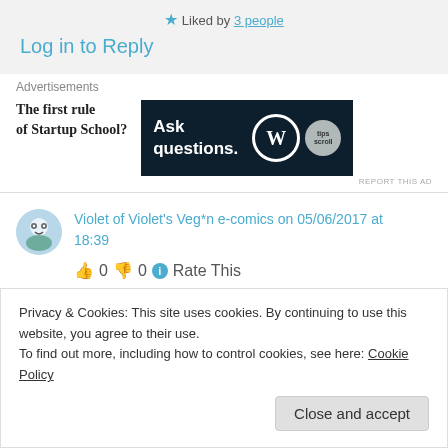★ Liked by 3 people
Log in to Reply
Advertisements
The first rule of Startup School?
[Figure (screenshot): Dark navy advertisement banner with text 'Ask questions.' and WordPress and another logo on the right]
REPORT THIS AD
Violet of Violet's Veg*n e-comics on 05/06/2017 at 18:39
👍 0 👎 0 ℹ Rate This
Privacy & Cookies: This site uses cookies. By continuing to use this website, you agree to their use.
To find out more, including how to control cookies, see here: Cookie Policy
Close and accept